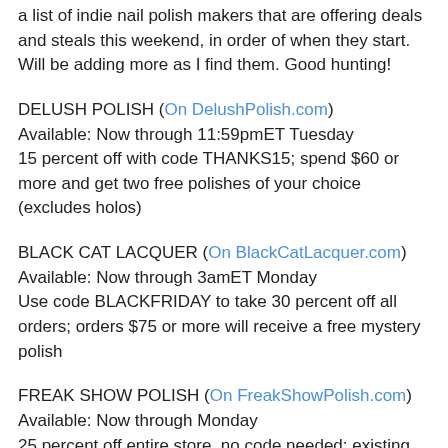a list of indie nail polish makers that are offering deals and steals this weekend, in order of when they start. Will be adding more as I find them. Good hunting!
DELUSH POLISH (On DelushPolish.com)
Available: Now through 11:59pmET Tuesday
15 percent off with code THANKS15; spend $60 or more and get two free polishes of your choice (excludes holos)
BLACK CAT LACQUER (On BlackCatLacquer.com)
Available: Now through 3amET Monday
Use code BLACKFRIDAY to take 30 percent off all orders; orders $75 or more will receive a free mystery polish
FREAK SHOW POLISH (On FreakShowPolish.com)
Available: Now through Monday
25 percent off entire store, no code needed; existing